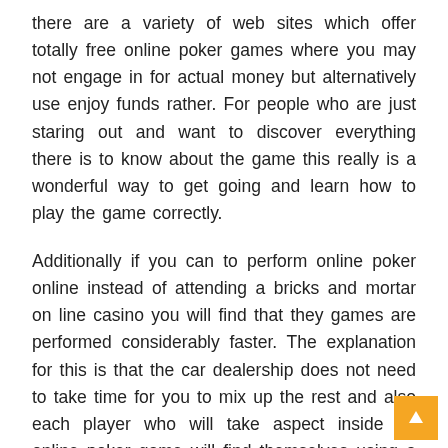there are a variety of web sites which offer totally free online poker games where you may not engage in for actual money but alternatively use enjoy funds rather. For people who are just staring out and want to discover everything there is to know about the game this really is a wonderful way to get going and learn how to play the game correctly.
Additionally if you can to perform online poker online instead of attending a bricks and mortar on line casino you will find that they games are performed considerably faster. The explanation for this is that the car dealership does not need to take time for you to mix up the rest and also each player who will take aspect inside an online poker game will find themselves using a time restrict where they have to comprehensive every single part of the game.